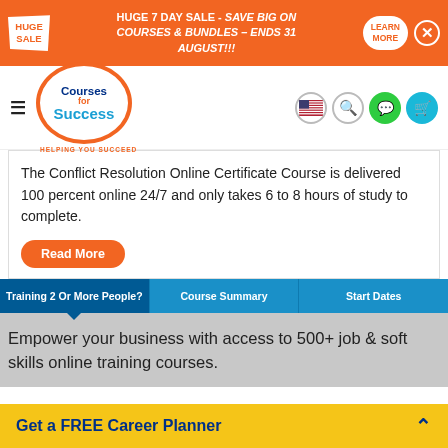HUGE 7 DAY SALE - SAVE BIG ON COURSES & BUNDLES – ENDS 31 AUGUST!!!
[Figure (logo): Courses for Success logo with 'HELPING YOU SUCCEED' tagline]
The Conflict Resolution Online Certificate Course is delivered 100 percent online 24/7 and only takes 6 to 8 hours of study to complete.
Read More
Training 2 Or More People?
Course Summary
Start Dates
Empower your business with access to 500+ job & soft skills online training courses.
Get a FREE Career Planner